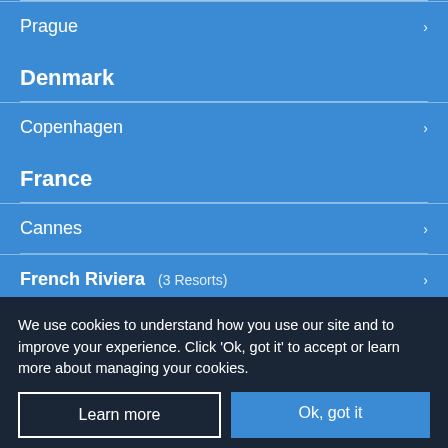Prague
Denmark
Copenhagen
France
Cannes
French Riviera (3 Resorts)
We use cookies to understand how you use our site and to improve your experience. Click 'Ok, got it' to accept or learn more about managing your cookies.
Learn more
Ok, got it